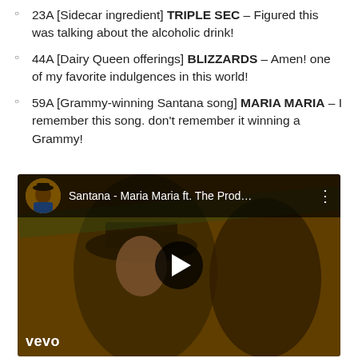23A [Sidecar ingredient] TRIPLE SEC – Figured this was talking about the alcoholic drink!
44A [Dairy Queen offerings] BLIZZARDS – Amen! one of my favorite indulgences in this world!
59A [Grammy-winning Santana song] MARIA MARIA – I remember this song. don't remember it winning a Grammy!
[Figure (screenshot): YouTube video thumbnail for 'Santana - Maria Maria ft. The Prod...' showing two musicians, with a play button overlay and Vevo logo in the bottom left corner.]